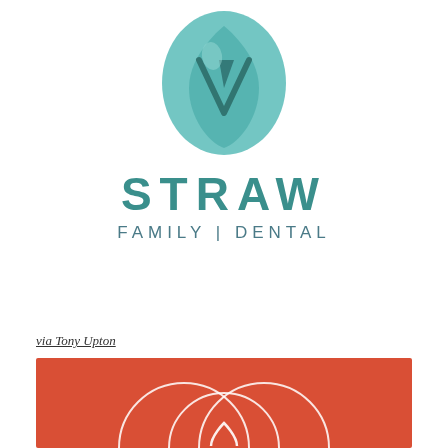[Figure (logo): Straw Family Dental logo: teal/mint oval shape with a stylized tooth/leaf design inside, above the text STRAW in large teal letters and FAMILY | DENTAL in smaller spaced teal letters below]
via Tony Upton
[Figure (logo): Red/orange background with white overlapping circle/ring design forming an abstract heart or tooth shape, partially visible at bottom of page]